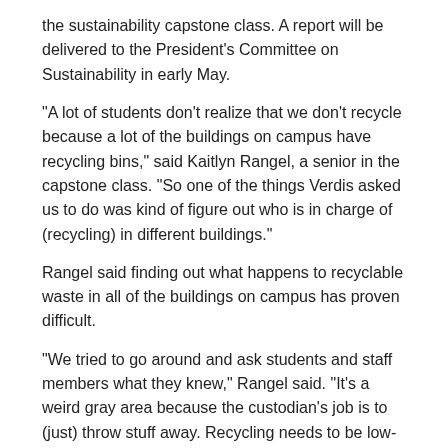the sustainability capstone class. A report will be delivered to the President's Committee on Sustainability in early May.
"A lot of students don't realize that we don't recycle because a lot of the buildings on campus have recycling bins," said Kaitlyn Rangel, a senior in the capstone class. "So one of the things Verdis asked us to do was kind of figure out who is in charge of (recycling) in different buildings."
Rangel said finding out what happens to recyclable waste in all of the buildings on campus has proven difficult.
"We tried to go around and ask students and staff members what they knew," Rangel said. "It's a weird gray area because the custodian's job is to (just) throw stuff away. Recycling needs to be low-key because it's not in their job descriptions – they're not supposed to. The recycling bins in Beacom don't get collected as recycling. We don't want people to get to disheartened by that because we're going to fix it."